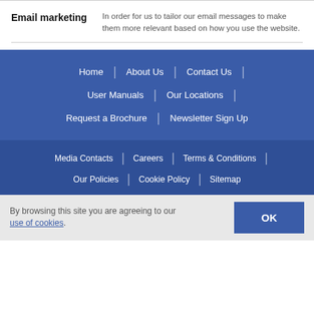Email marketing
In order for us to tailor our email messages to make them more relevant based on how you use the website.
Home | About Us | Contact Us |
User Manuals | Our Locations |
Request a Brochure | Newsletter Sign Up
Media Contacts | Careers | Terms & Conditions |
Our Policies | Cookie Policy | Sitemap
By browsing this site you are agreeing to our use of cookies.